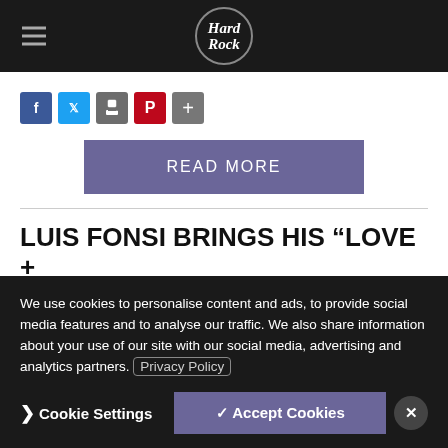Hard Rock
[Figure (logo): Hard Rock logo in circular border with italic serif text]
[Figure (infographic): Social sharing icons: Facebook, Twitter, Print, Pinterest, Plus]
READ MORE
LUIS FONSI BRINGS HIS “LOVE + DANCE WORLD TOUR” TO H …
Posted: Mon, Jun 19, 2017
We use cookies to personalise content and ads, to provide social media features and to analyse our traffic. We also share information about your use of our site with our social media, advertising and analytics partners. Privacy Policy
❯ Cookie Settings
✓ Accept Cookies